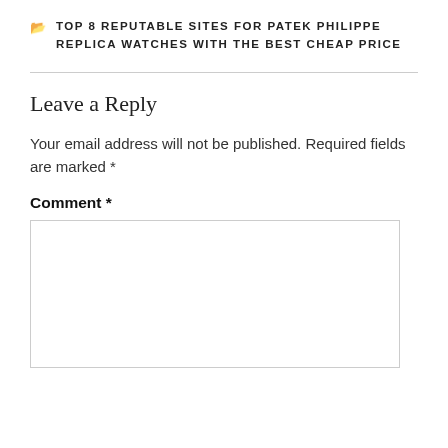TOP 8 REPUTABLE SITES FOR PATEK PHILIPPE REPLICA WATCHES WITH THE BEST CHEAP PRICE
Leave a Reply
Your email address will not be published. Required fields are marked *
Comment *